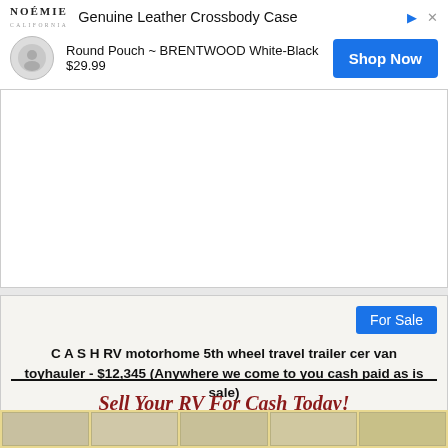[Figure (screenshot): Ad banner for NOÉMIE Genuine Leather Crossbody Case showing Round Pouch BRENTWOOD White-Black for $29.99 with a Shop Now button]
[Figure (screenshot): Collapse/minimize chevron button below the ad banner]
For Sale
C A S H RV motorhome 5th wheel travel trailer cer van toyhauler - $12,345 (Anywhere we come to you cash paid as is sale)
Sell Your RV For Cash Today!
Large Recreational Vehicles
[Figure (photo): Row of RV vehicle photos at the bottom of the listing]